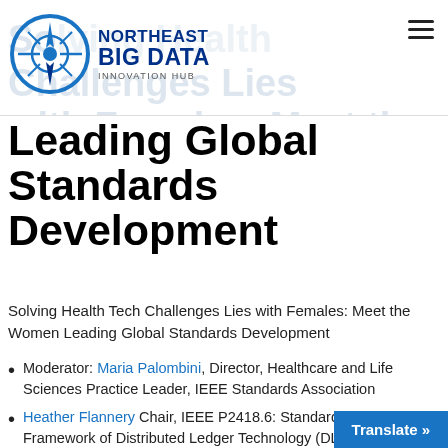Northeast Big Data Innovation Hub
Leading Global Standards Development
Solving Health Tech Challenges Lies with Females: Meet the Women Leading Global Standards Development
Moderator: Maria Palombini, Director, Healthcare and Life Sciences Practice Leader, IEEE Standards Association
Heather Flannery Chair, IEEE P2418.6: Standard for the Framework of Distributed Ledger Technology (DLT) Use in Healthcare and the Life and Social Sciences
Dr. Madhuri Gore, Vice Chair, IEEE P2650: Standard for Enabling Mobile Device Platforms to Be Screening Audiometric Systems